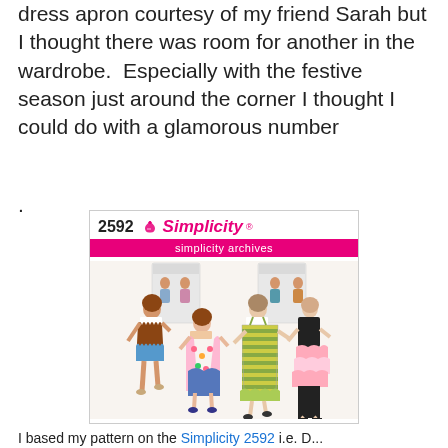dress apron courtesy of my friend Sarah but I thought there was room for another in the wardrobe.  Especially with the festive season just around the corner I thought I could do with a glamorous number
.
[Figure (illustration): Simplicity pattern 2592 from the Simplicity archives showing four retro-style women in various apron designs: a half apron with chevron/zigzag trim, a floral crossover apron, a striped full apron, and a ruffled half apron. Small inset images show additional views. The pattern features the Simplicity logo in pink/magenta and a pink 'simplicity archives' banner.]
I based my pattern on the Simplicity 2592 i.e. D...